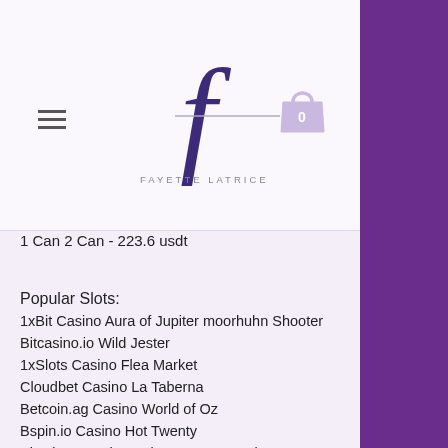[Figure (logo): Fayette Latrice script logo with shopping bag icon showing 0]
1 Can 2 Can - 223.6 usdt
Popular Slots:
1xBit Casino Aura of Jupiter moorhuhn Shooter
Bitcasino.io Wild Jester
1xSlots Casino Flea Market
Cloudbet Casino La Taberna
Betcoin.ag Casino World of Oz
Bspin.io Casino Hot Twenty
Bitcoin Penguin Casino Roman Empire
mBTC free bet Diamond Tower
22Bet Casino Golden Fish Tank
BitStarz Casino Mystic Moon
BitcoinCasino.us Kings of Highway